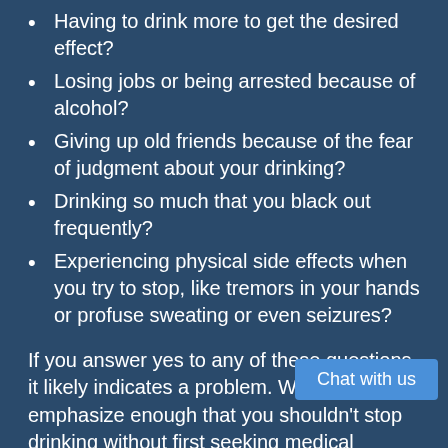Having to drink more to get the desired effect?
Losing jobs or being arrested because of alcohol?
Giving up old friends because of the fear of judgment about your drinking?
Drinking so much that you black out frequently?
Experiencing physical side effects when you try to stop, like tremors in your hands or profuse sweating or even seizures?
If you answer yes to any of these questions, it likely indicates a problem. We can't emphasize enough that you shouldn't stop drinking without first seeking medical advice, and if you feel like you do have a problem, you shouldn't pretend that you don't. At Cornerstone of Recovery, we can help you assess the degree of your problem and begin making arrangements to address it. Our Adm standing by to take your call; pick up and put an end to the fears you have of what life will